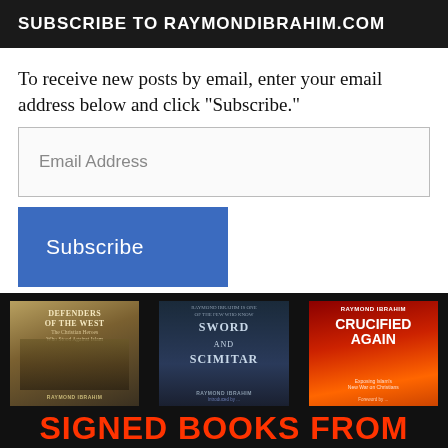SUBSCRIBE TO RAYMONDIBRAHIM.COM
To receive new posts by email, enter your email address below and click "Subscribe."
Email Address
Subscribe
[Figure (illustration): Three book covers (Defenders of the West, Sword and Scimitar, Crucified Again) on a black background with red 'SIGNED BOOKS FROM' text below]